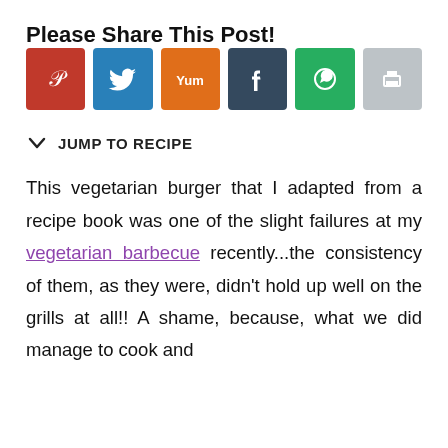Please Share This Post!
[Figure (infographic): Row of six social sharing buttons: Pinterest (red), Twitter (blue), Yummly (orange), Facebook (dark blue), WhatsApp (green), Print (grey)]
JUMP TO RECIPE
This vegetarian burger that I adapted from a recipe book was one of the slight failures at my vegetarian barbecue recently...the consistency of them, as they were, didn't hold up well on the grills at all!! A shame, because, what we did manage to cook and